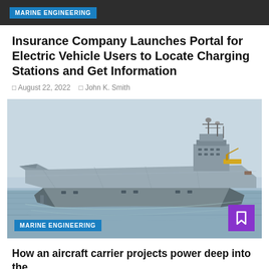MARINE ENGINEERING
Insurance Company Launches Portal for Electric Vehicle Users to Locate Charging Stations and Get Information
August 22, 2022   John K. Smith
[Figure (photo): Aerial view of an aircraft carrier at sea, showing flight deck, island superstructure, and hull. Blue-grey water visible around the ship. 'MARINE ENGINEERING' badge overlaid at bottom left, purple bookmark icon at bottom right.]
How an aircraft carrier projects power deep into the